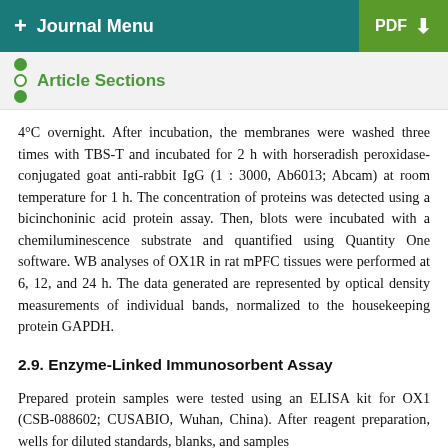+ Journal Menu   PDF ↓
Article Sections
4°C overnight. After incubation, the membranes were washed three times with TBS-T and incubated for 2 h with horseradish peroxidase-conjugated goat anti-rabbit IgG (1 : 3000, Ab6013; Abcam) at room temperature for 1 h. The concentration of proteins was detected using a bicinchoninic acid protein assay. Then, blots were incubated with a chemiluminescence substrate and quantified using Quantity One software. WB analyses of OX1R in rat mPFC tissues were performed at 6, 12, and 24 h. The data generated are represented by optical density measurements of individual bands, normalized to the housekeeping protein GAPDH.
2.9. Enzyme-Linked Immunosorbent Assay
Prepared protein samples were tested using an ELISA kit for OX1 (CSB-088602; CUSABIO, Wuhan, China). After reagent preparation, wells for diluted standards, blanks, and samples